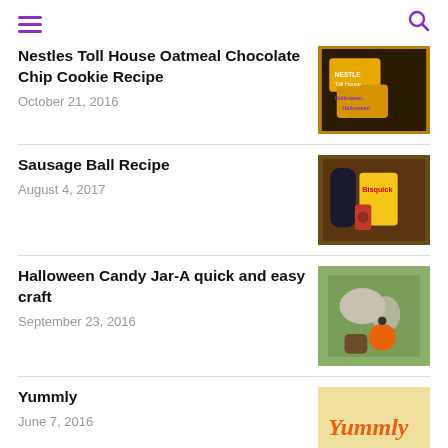[hamburger menu icon] [search icon]
Nestles Toll House Oatmeal Chocolate Chip Cookie Recipe
October 21, 2016
[Figure (photo): Yellow Nestle Toll House Halloween chocolate chip bags on a dark surface]
Sausage Ball Recipe
August 4, 2017
[Figure (photo): Ingredients including Bisquick, a can, and other items on a table]
Halloween Candy Jar-A quick and easy craft
September 23, 2016
[Figure (photo): Halloween candy jar craft with elephant figure and jar of candy]
Yummly
June 7, 2016
[Figure (photo): Yummly branded image with orange Yummly logo text]